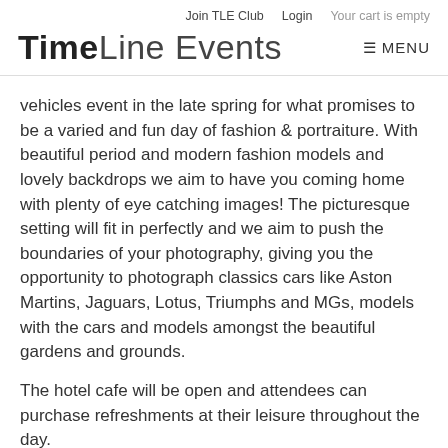Join TLE Club   Login   Your cart is empty
TimeLine Events  ☰ MENU
vehicles event in the late spring for what promises to be a varied and fun day of fashion & portraiture.  With beautiful period and modern fashion models and lovely backdrops we aim to have you coming home with plenty of eye catching images! The picturesque setting will fit in perfectly and we aim to push the boundaries of your photography, giving you the opportunity to photograph classics cars like Aston Martins, Jaguars, Lotus, Triumphs and MGs, models with the cars and models amongst the beautiful gardens and grounds.
The hotel cafe will be open and attendees can purchase refreshments at their leisure throughout the day.
What to expect: